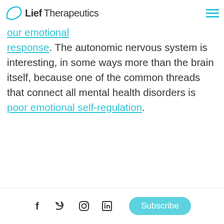Lief Therapeutics
your autonomic nervous system, your "body's ... our emotional response. The autonomic nervous system is interesting, in some ways more than the brain itself, because one of the common threads that connect all mental health disorders is poor emotional self-regulation.
f  twitter  instagram  in  Subscribe